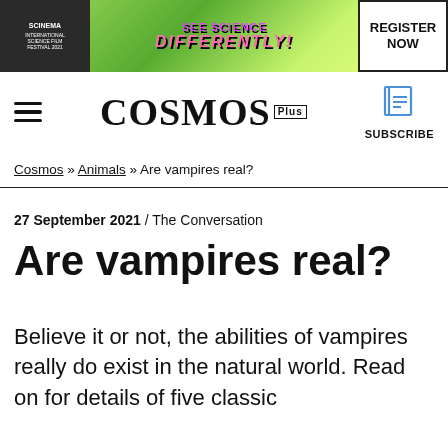[Figure (other): Banner advertisement with green background, SCINEMA logo on dark left panel, 'SEE SCIENCE DIFFERENTLY!' text in pink/magenta, and 'REGISTER NOW' button on right]
COSMOS+ | Subscribe
Cosmos » Animals » Are vampires real?
27 September 2021  /  The Conversation
Are vampires real?
Believe it or not, the abilities of vampires really do exist in the natural world. Read on for details of five classic